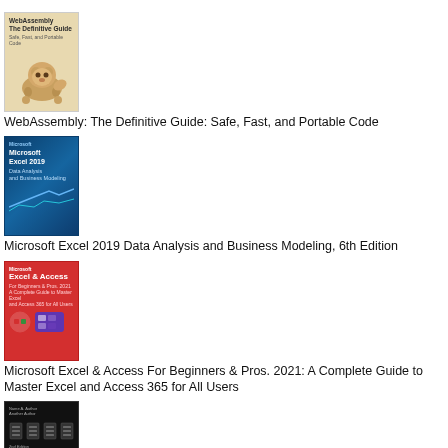[Figure (illustration): Book cover: WebAssembly The Definitive Guide with a dog (Pomeranian) illustration on tan/beige background]
WebAssembly: The Definitive Guide: Safe, Fast, and Portable Code
[Figure (illustration): Book cover: Microsoft Excel 2019 Data Analysis and Business Modeling, dark blue background with chart graphics]
Microsoft Excel 2019 Data Analysis and Business Modeling, 6th Edition
[Figure (illustration): Book cover: Microsoft Excel & Access For Beginners & Pros. 2021, red cover with icons]
Microsoft Excel & Access For Beginners & Pros. 2021: A Complete Guide to Master Excel and Access 365 for All Users
[Figure (illustration): Book cover: dark cover with small text and grid/tablet images, partially visible at bottom]